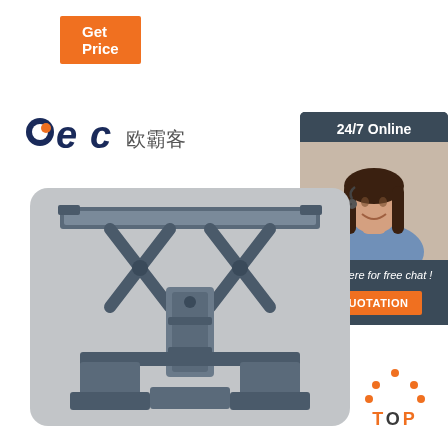Get Price
[Figure (logo): BEC 欧霸客 company logo with stylized blue and orange 'bec' letters and Chinese characters]
[Figure (photo): Industrial scissor lift table product photo on gray rounded background — heavy-duty hydraulic lift table viewed from front]
[Figure (photo): 24/7 Online customer service panel with woman wearing headset, 'Click here for free chat!' text, and orange QUOTATION button]
TOP